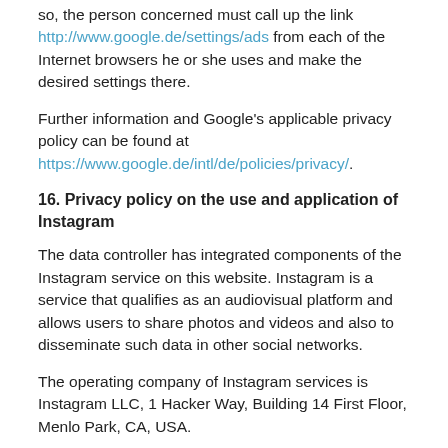so, the person concerned must call up the link http://www.google.de/settings/ads from each of the Internet browsers he or she uses and make the desired settings there.
Further information and Google's applicable privacy policy can be found at https://www.google.de/intl/de/policies/privacy/.
16. Privacy policy on the use and application of Instagram
The data controller has integrated components of the Instagram service on this website. Instagram is a service that qualifies as an audiovisual platform and allows users to share photos and videos and also to disseminate such data in other social networks.
The operating company of Instagram services is Instagram LLC, 1 Hacker Way, Building 14 First Floor, Menlo Park, CA, USA.
Each time a user accesses any of the individual pages of this Internet site operated by the data controller and on which an Instagram component (Insta Button) has been